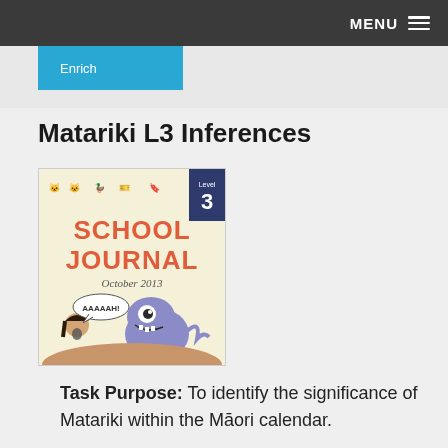MENU
Enrich
Matariki L3 Inferences
[Figure (illustration): Cover of School Journal, Level 3, October 2013. Shows cartoon monster and scared girl with speech bubble 'AAAAAH!']
Task Purpose: To identify the significance of Matariki within the Māori calendar.